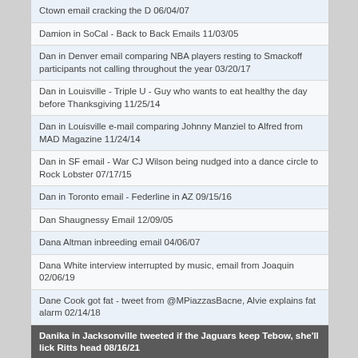Ctown email cracking the D 06/04/07
Damion in SoCal - Back to Back Emails 11/03/05
Dan in Denver email comparing NBA players resting to Smackoff participants not calling throughout the year 03/20/17
Dan in Louisville - Triple U - Guy who wants to eat healthy the day before Thanksgiving 11/25/14
Dan in Louisville e-mail comparing Johnny Manziel to Alfred from MAD Magazine 11/24/14
Dan in SF email - War CJ Wilson being nudged into a dance circle to Rock Lobster 07/17/15
Dan in Toronto email - Federline in AZ 09/15/16
Dan Shaugnessy Email 12/09/05
Dana Altman inbreeding email 04/06/07
Dana White interview interrupted by music, email from Joaquin 02/06/19
Dane Cook got fat - tweet from @MPiazzasBacne, Alvie explains fat alarm 02/14/18
Danika in Jacksonville tweeted if the Jaguars keep Tebow, she'll lick Ritts head 08/16/21
Danika in Jacksonville tweeted that she is going to the NFL draft in Cleveland 04/22/21
Dark Gable responds to Willie in KC
Darren Clark fat David Duval skinny emails
Dave in Madison with an e-mail suggesting a human wall for NASCAR racers